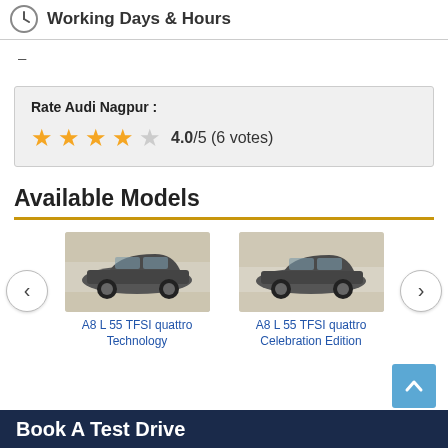Working Days & Hours
–
Rate Audi Nagpur :  4.0/5 (6 votes)
Available Models
[Figure (photo): Car model image: A8 L 55 TFSI quattro Technology – dark grey Audi sedan side view]
A8 L 55 TFSI quattro Technology
[Figure (photo): Car model image: A8 L 55 TFSI quattro Celebration Edition – dark grey Audi sedan side view]
A8 L 55 TFSI quattro Celebration Edition
Book A Test Drive